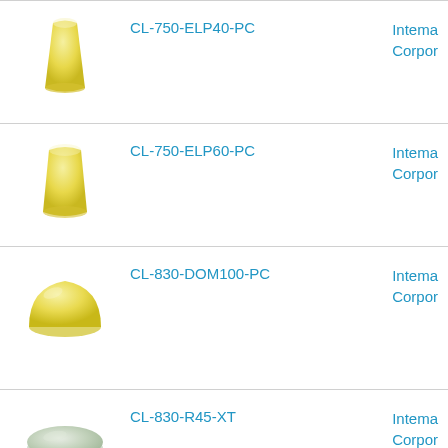[Figure (photo): Yellow bullet/cone shaped plastic cap, CL-750-ELP40-PC]
CL-750-ELP40-PC
Intema Corpor
[Figure (photo): Yellow bullet/cone shaped plastic cap, CL-750-ELP60-PC]
CL-750-ELP60-PC
Intema Corpor
[Figure (photo): Yellow dome shaped plastic cap, CL-830-DOM100-PC]
CL-830-DOM100-PC
Intema Corpor
[Figure (photo): Light green flat oval/disc shaped plastic cap, CL-830-R45-XT]
CL-830-R45-XT
Intema Corpor